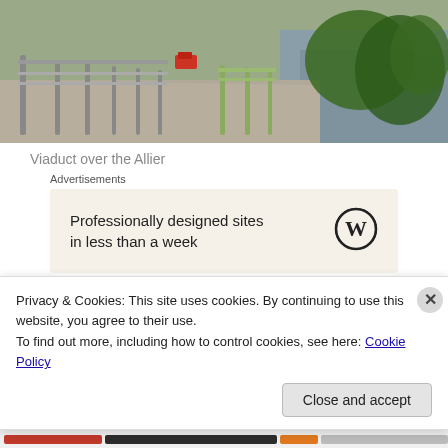[Figure (photo): Photograph of a bridge viaduct over the Allier river, showing a walkway with metal railings on the left, and water/vegetation visible on the right.]
Viaduct over the Allier
[Figure (other): WordPress advertisement box: 'Professionally designed sites in less than a week' with WordPress logo.]
After about 8 km, heading west, we arrived at this viaduct
Privacy & Cookies: This site uses cookies. By continuing to use this website, you agree to their use.
To find out more, including how to control cookies, see here: Cookie Policy